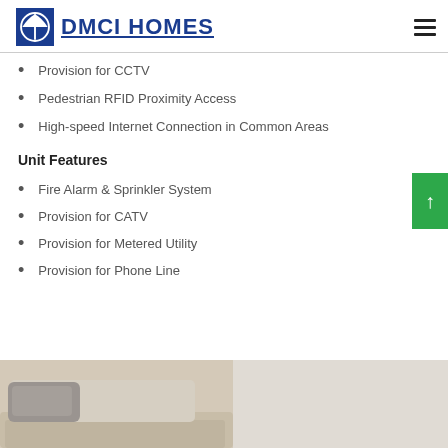DMCI HOMES
Provision for CCTV
Pedestrian RFID Proximity Access
High-speed Internet Connection in Common Areas
Unit Features
Fire Alarm & Sprinkler System
Provision for CATV
Provision for Metered Utility
Provision for Phone Line
[Figure (photo): Interior photo showing a beige/cream sofa with cushions against a light background]